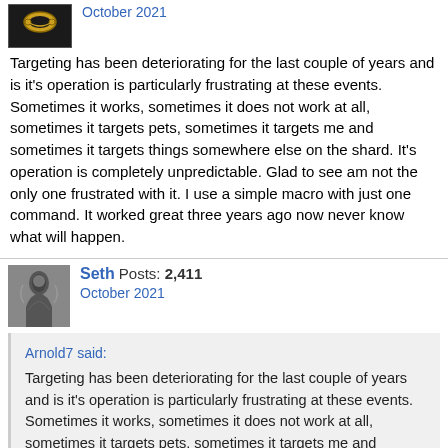October 2021
Targeting has been deteriorating for the last couple of years and is it's operation is particularly frustrating at these events.  Sometimes it works, sometimes it does not work at all, sometimes it targets pets, sometimes it targets me and sometimes it targets things somewhere else on the shard.  It's operation is completely unpredictable. Glad to see am not the only one frustrated with it.  I use a simple macro with just one command.  It worked great three years ago now never know what will happen.
Seth  Posts: 2,411
October 2021
Arnold7 said:
Targeting has been deteriorating for the last couple of years and is it's operation is particularly frustrating at these events.  Sometimes it works, sometimes it does not work at all, sometimes it targets pets, sometimes it targets me and sometimes it targets things somewhere else on the shard.  It's operation is completely unpredictable. Glad to see am not the only one frustrated with it.  I use a simple macro with just one command.  It worked great three years ago now never know